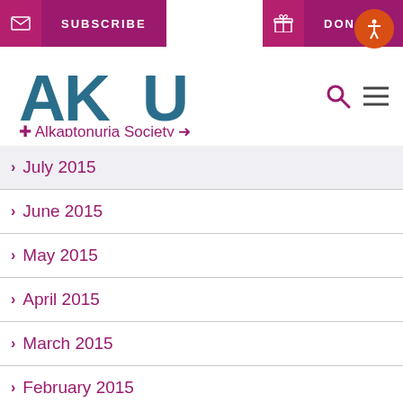[Figure (screenshot): AKU Alkaptonuria Society website header with SUBSCRIBE and DONATE navigation buttons, AKU logo, search and menu icons, and accessibility button]
> July 2015
> June 2015
> May 2015
> April 2015
> March 2015
> February 2015
> January 2015